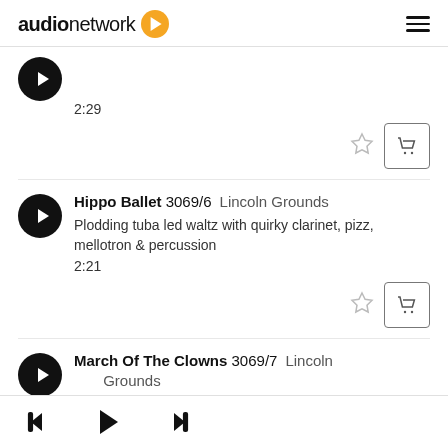audio network
2:29
Hippo Ballet 3069/6  Lincoln Grounds
Plodding tuba led waltz with quirky clarinet, pizz, mellotron & percussion
2:21
March Of The Clowns 3069/7  Lincoln Grounds
Fast comedy march with manic xylophone, stomping tuba, zany percussion & fx